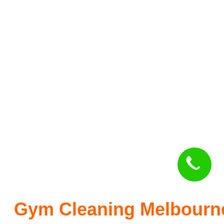[Figure (illustration): Green circular button with white telephone/phone handset icon, positioned in the upper-right area of the page]
Gym Cleaning Melbourne: